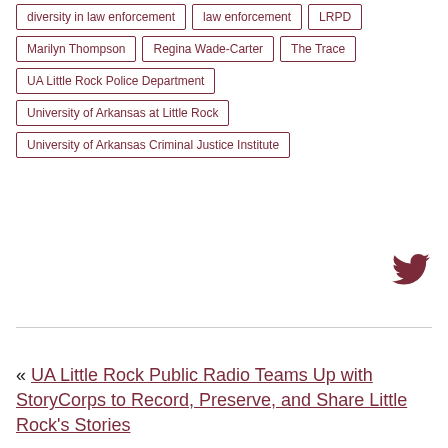diversity in law enforcement
law enforcement
LRPD
Marilyn Thompson
Regina Wade-Carter
The Trace
UA Little Rock Police Department
University of Arkansas at Little Rock
University of Arkansas Criminal Justice Institute
[Figure (logo): Twitter bird icon in dark red/maroon color]
« UA Little Rock Public Radio Teams Up with StoryCorps to Record, Preserve, and Share Little Rock's Stories